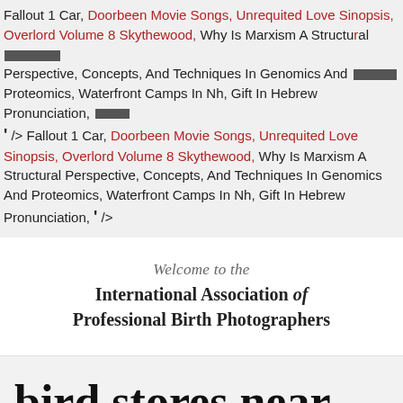Fallout 1 Car, Doorbeen Movie Songs, Unrequited Love Sinopsis, Overlord Volume 8 Skythewood, Why Is Marxism A Structural Perspective, Concepts, And Techniques In Genomics And Proteomics, Waterfront Camps In Nh, Gift In Hebrew Pronunciation, ' /> Fallout 1 Car, Doorbeen Movie Songs, Unrequited Love Sinopsis, Overlord Volume 8 Skythewood, Why Is Marxism A Structural Perspective, Concepts, And Techniques In Genomics And Proteomics, Waterfront Camps In Nh, Gift In Hebrew Pronunciation, ' />
[Figure (other): Three horizontal redacted/blacked-out bars in the upper right area of the top text section]
Welcome to the International Association of Professional Birth Photographers
bird stores near me